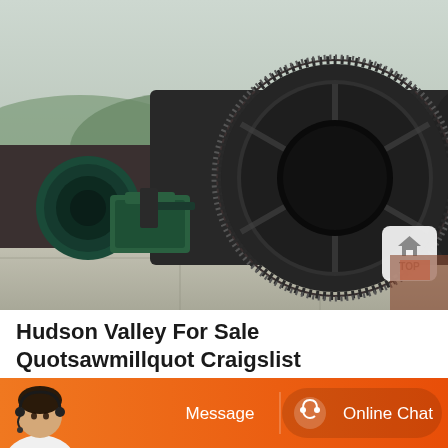[Figure (photo): Industrial ball mill machinery with large circular gear ring and green motor/gearbox components, photographed outdoors with a hilly landscape in the background. Concrete foundation visible at base.]
Hudson Valley For Sale Quotsawmillquot Craigslist
[Figure (infographic): Orange bottom navigation bar with a customer service agent avatar on the left, a 'Message' button in the center-left, and an 'Online Chat' button with headset icon on the right.]